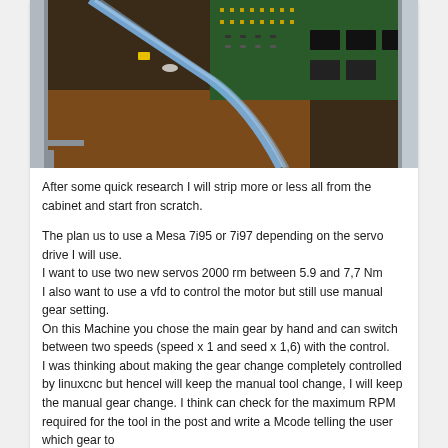[Figure (photo): Close-up photo of an electronics/circuit board inside a machine cabinet, showing wiring (blue and grey cables), PCB components, and a wooden/metal enclosure interior.]
After some quick research I will strip more or less all from the cabinet and start fron scratch.

The plan us to use a Mesa 7i95 or 7i97 depending on the servo drive I will use.
I want to use two new servos 2000 rm between 5.9 and 7,7 Nm
I also want to use a vfd to control the motor but still use manual gear setting.
On this Machine you chose the main gear by hand and can switch between two speeds (speed x 1 and seed x 1,6) with the control.
I was thinking about making the gear change completely controlled by linuxcnc but hencel will keep the manual tool change, I will keep the manual gear change. I think can check for the maximum RPM required for the tool in the post and write a Mcode telling the user which gear to